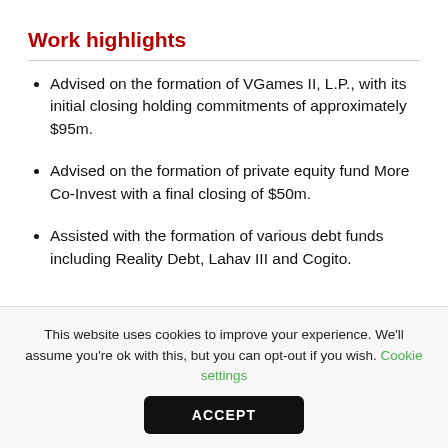Work highlights
Advised on the formation of VGames II, L.P., with its initial closing holding commitments of approximately $95m.
Advised on the formation of private equity fund More Co-Invest with a final closing of $50m.
Assisted with the formation of various debt funds including Reality Debt, Lahav III and Cogito.
This website uses cookies to improve your experience. We'll assume you're ok with this, but you can opt-out if you wish. Cookie settings
ACCEPT